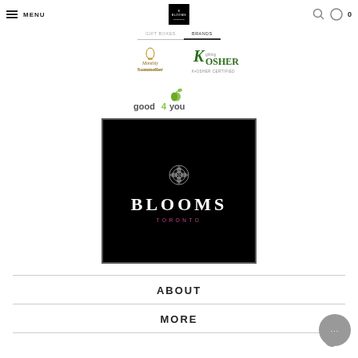MENU | BLOOMS (logo) | search | cart 0
[Figure (logo): Monthly Sommelier script logo with wine bottle]
[Figure (logo): K gifting Kosher logo]
[Figure (logo): good4you logo with apple and leaf]
[Figure (logo): Blooms Toronto logo - black box with rose illustration, BLOOMS in white, TORONTO in pink]
ABOUT
MORE